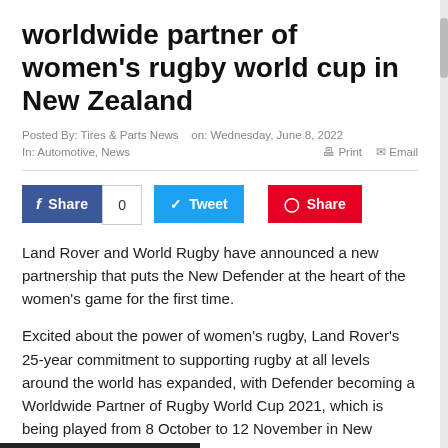worldwide partner of women's rugby world cup in New Zealand
Posted By: Tires & Parts News  on: Wednesday, June 8, 2022
In: Automotive, News    Print  Email
[Figure (other): Social sharing buttons: Facebook Share with count 0, Twitter Tweet, Pinterest Share]
Land Rover and World Rugby have announced a new partnership that puts the New Defender at the heart of the women's game for the first time.
Excited about the power of women's rugby, Land Rover's 25-year commitment to supporting rugby at all levels around the world has expanded, with Defender becoming a Worldwide Partner of Rugby World Cup 2021, which is being played from 8 October to 12 November in New Zealand.
It is the first time the global brand will support the women's tournament as a Worldwide Partner with Defender pledging